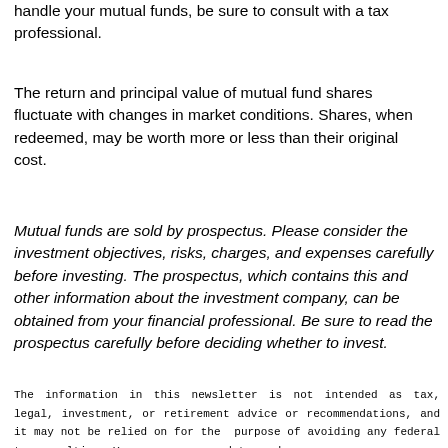handle your mutual funds, be sure to consult with a tax professional.
The return and principal value of mutual fund shares fluctuate with changes in market conditions. Shares, when redeemed, may be worth more or less than their original cost.
Mutual funds are sold by prospectus. Please consider the investment objectives, risks, charges, and expenses carefully before investing. The prospectus, which contains this and other information about the investment company, can be obtained from your financial professional. Be sure to read the prospectus carefully before deciding whether to invest.
The information in this newsletter is not intended as tax, legal, investment, or retirement advice or recommendations, and it may not be relied on for the purpose of avoiding any federal tax penalties. You are encouraged to seek